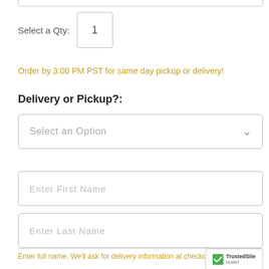Select a Qty: 1
Order by 3:00 PM PST for same day pickup or delivery!
Delivery or Pickup?:
Select an Option
Enter First Name
Enter Last Name
Enter full name. We'll ask for delivery information at checkout.